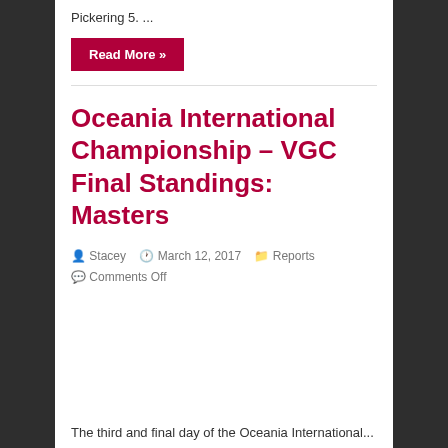Pickering 5. ...
Read More »
Oceania International Championship – VGC Final Standings: Masters
Stacey   March 12, 2017   Reports   Comments Off
The third and final day of the Oceania International...